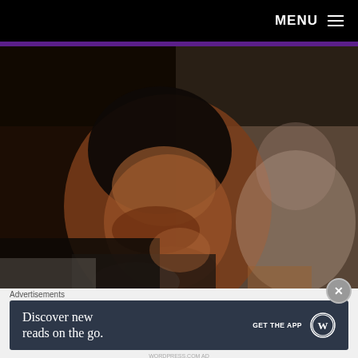MENU ≡
[Figure (photo): Close-up photograph of a young Black child looking downward, with another child blurred in the background, warm dark tones]
Advertisements
[Figure (infographic): Advertisement banner: 'Discover new reads on the go. GET THE APP' with WordPress logo, dark navy background]